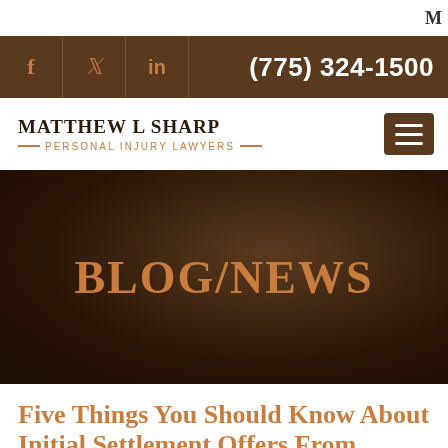M
(775) 324-1500
[Figure (logo): Matthew L Sharp Personal Injury Lawyers logo with firm name and tagline]
BLOG/NEWS
Five Things You Should Know About Initial Settlement Offers From